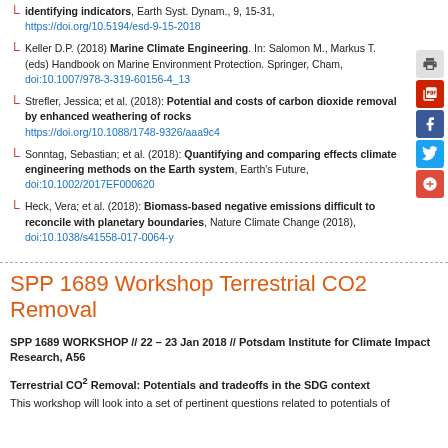identifying indicators, Earth Syst. Dynam., 9, 15-31, https://doi.org/10.5194/esd-9-15-2018
Keller D.P. (2018) Marine Climate Engineering. In: Salomon M., Markus T. (eds) Handbook on Marine Environment Protection. Springer, Cham, doi:10.1007/978-3-319-60156-4_13
Strefler, Jessica; et al. (2018): Potential and costs of carbon dioxide removal by enhanced weathering of rocks https://doi.org/10.1088/1748-9326/aaa9c4
Sonntag, Sebastian; et al. (2018): Quantifying and comparing effects climate engineering methods on the Earth system, Earth's Future, doi:10.1002/2017EF000620
Heck, Vera; et al. (2018): Biomass-based negative emissions difficult to reconcile with planetary boundaries, Nature Climate Change (2018), doi:10.1038/s41558-017-0064-y
SPP 1689 Workshop Terrestrial CO2 Removal
SPP 1689 WORKSHOP // 22 – 23 Jan 2018 // Potsdam Institute for Climate Impact Research, A56
Terrestrial CO2 Removal: Potentials and tradeoffs in the SDG context
This workshop will look into a set of pertinent questions related to potentials of